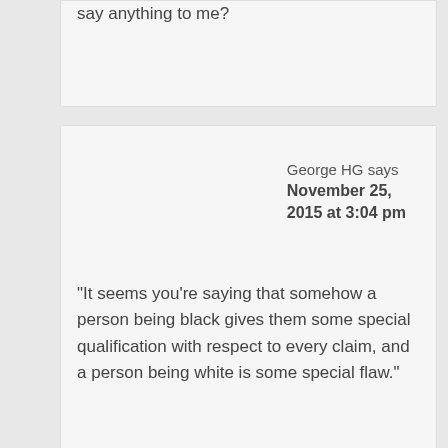say anything to me?
George HG says November 25, 2015 at 3:04 pm
“It seems you’re saying that somehow a person being black gives them some special qualification with respect to every claim, and a person being white is some special flaw.”